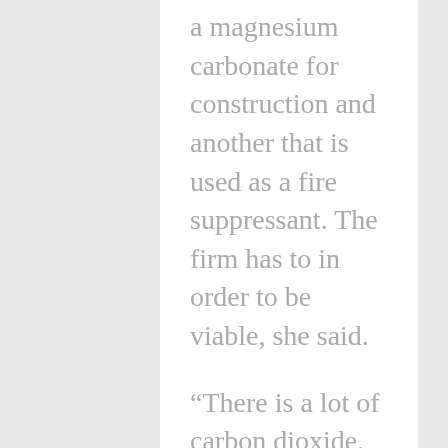a magnesium carbonate for construction and another that is used as a fire suppressant. The firm has to in order to be viable, she said.
“There is a lot of carbon dioxide, so unless you are going to be able to manufacture a range of products, you are not even going to be touching the tip of the iceberg,” she said.
From carbon fiber to plastics, the possibilities are flowing out of power plants are numerous and the supply is nearly limitless. The Dave Johnston plant outside Glenrock produces more than 5.5 million metric tons of carbon dioxide equivalent every year, about 16,000 tons